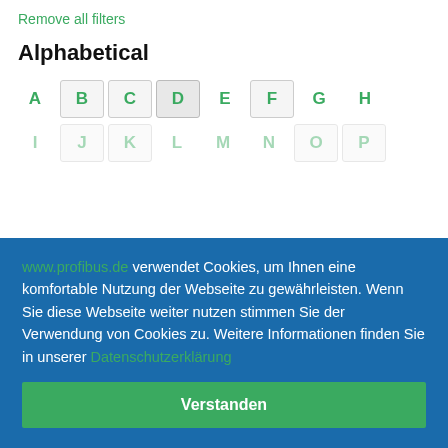Remove all filters
Alphabetical
A B C D E F G H
www.profibus.de verwendet Cookies, um Ihnen eine komfortable Nutzung der Webseite zu gewährleisten. Wenn Sie diese Webseite weiter nutzen stimmen Sie der Verwendung von Cookies zu. Weitere Informationen finden Sie in unserer Datenschutzerklärung
Verstanden